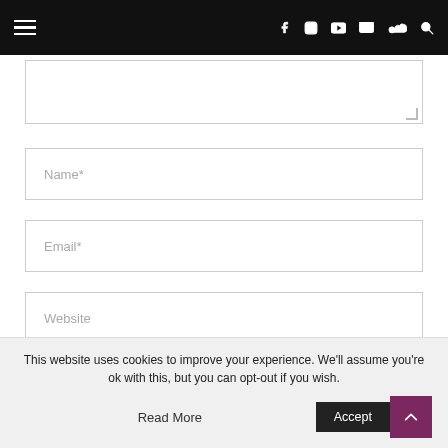Navigation bar with hamburger menu and social icons: Facebook, Instagram, YouTube, Email, SoundCloud, Search
[Figure (screenshot): Partially visible textarea input box at the top of the form]
Name*
Email*
Website
Save my name, email, and website in this browser for the next time I comment.
This website uses cookies to improve your experience. We'll assume you're ok with this, but you can opt-out if you wish.
Read More
Accept